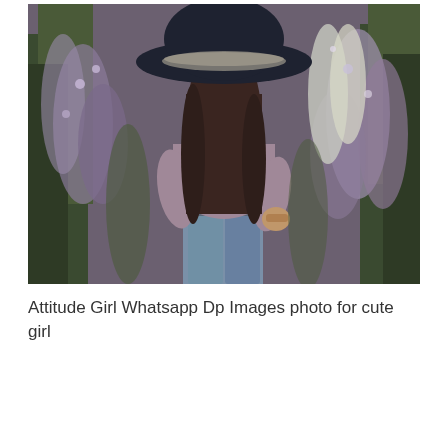[Figure (photo): A girl seen from behind, wearing a wide-brim dark hat and a light purple/mauve loose top with jeans, standing among tall flowering plants and greenery in an outdoor field setting.]
Attitude Girl Whatsapp Dp Images photo for cute girl